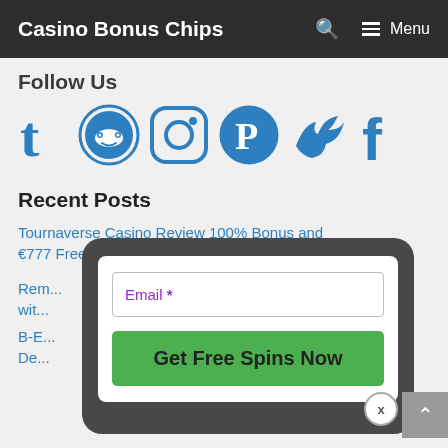Casino Bonus Chips   Menu
Follow us
[Figure (other): Row of social media icons: Tumblr, Reddit, Instagram, Pinterest, Twitter, Facebook — all in blue]
Recent Posts
Tournaverse Casino Review 100% Bonus and €777 Free Chips
Rem... wit...
B-E... De...
[Figure (screenshot): Modal popup with email field labeled 'Email *' in purple, and a green button 'Get Free Spins Now', with a close X button at the bottom right]